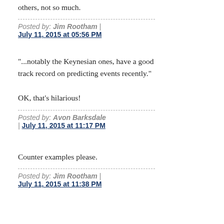others, not so much.
Posted by: Jim Rootham | July 11, 2015 at 05:56 PM
"...notably the Keynesian ones, have a good track record on predicting events recently."

OK, that's hilarious!
Posted by: Avon Barksdale | July 11, 2015 at 11:17 PM
Counter examples please.
Posted by: Jim Rootham | July 11, 2015 at 11:38 PM